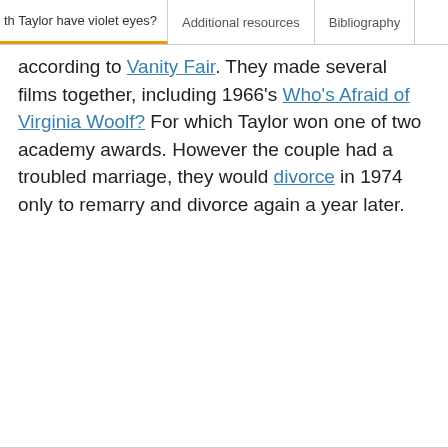th Taylor have violet eyes? | Additional resources | Bibliography
according to Vanity Fair. They made several films together, including 1966's Who's Afraid of Virginia Woolf? For which Taylor won one of two academy awards. However the couple had a troubled marriage, they would divorce in 1974 only to remarry and divorce again a year later.